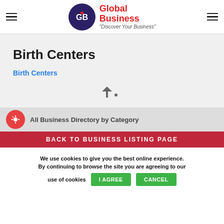Global Business - Discover Your Business
Birth Centers
Birth Centers
[Figure (illustration): Home icon followed by a bullet dot, breadcrumb navigation separator]
All Business Directory by Category
BACK TO BUSINESS LISTING PAGE
We use cookies to give you the best online experience. By continuing to browse the site you are agreeing to our use of cookies  I AGREE  CANCEL